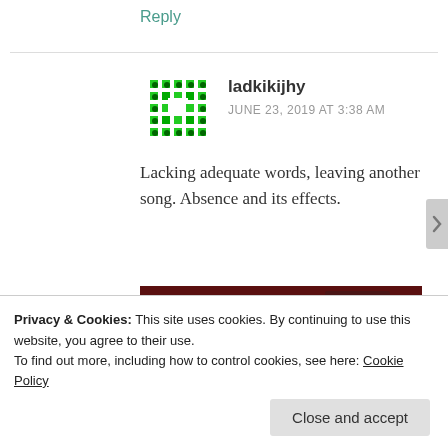Reply
ladkikijhy
JUNE 23, 2019 AT 3:38 AM
[Figure (illustration): Green pixel/mosaic avatar icon for user ladkikijhy]
Lacking adequate words, leaving another song. Absence and its effects.
[Figure (screenshot): YouTube video thumbnail showing 'SAKHI PIYA' with a woman and dark background]
Privacy & Cookies: This site uses cookies. By continuing to use this website, you agree to their use. To find out more, including how to control cookies, see here: Cookie Policy